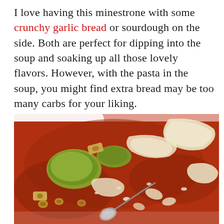I love having this minestrone with some crunchy garlic bread or sourdough on the side. Both are perfect for dipping into the soup and soaking up all those lovely flavors. However, with the pasta in the soup, you might find extra bread may be too many carbs for your liking.
[Figure (photo): A close-up photo of minestrone soup in a white bowl, showing tomato-based broth with pasta (rigatoni and ditalini), zucchini chunks, and large shavings of Parmesan cheese on top, with a spoon visible in the bowl.]